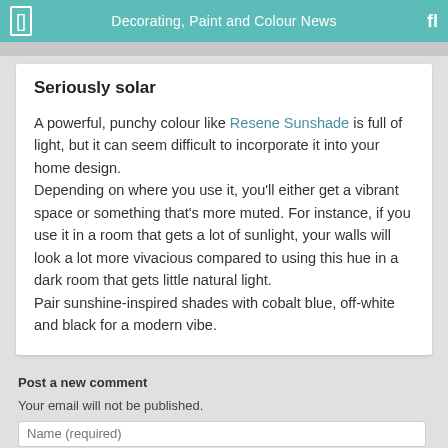Decorating, Paint and Colour News
Seriously solar
A powerful, punchy colour like Resene Sunshade is full of light, but it can seem difficult to incorporate it into your home design.
Depending on where you use it, you'll either get a vibrant space or something that's more muted. For instance, if you use it in a room that gets a lot of sunlight, your walls will look a lot more vivacious compared to using this hue in a dark room that gets little natural light.
Pair sunshine-inspired shades with cobalt blue, off-white and black for a modern vibe.
Post a new comment
Your email will not be published.